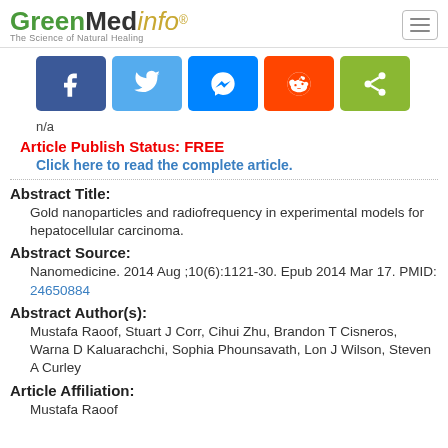GreenMedinfo® — The Science of Natural Healing
[Figure (other): Social share buttons: Facebook, Twitter, Messenger, Reddit, Share]
n/a
Article Publish Status: FREE
Click here to read the complete article.
Abstract Title:
Gold nanoparticles and radiofrequency in experimental models for hepatocellular carcinoma.
Abstract Source:
Nanomedicine. 2014 Aug ;10(6):1121-30. Epub 2014 Mar 17. PMID: 24650884
Abstract Author(s):
Mustafa Raoof, Stuart J Corr, Cihui Zhu, Brandon T Cisneros, Warna D Kaluarachchi, Sophia Phounsavath, Lon J Wilson, Steven A Curley
Article Affiliation:
Mustafa Raoof